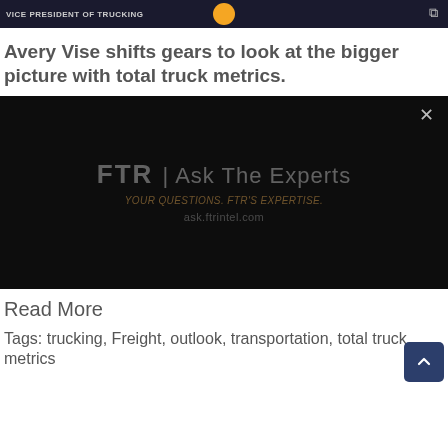VICE PRESIDENT OF TRUCKING
Avery Vise shifts gears to look at the bigger picture with total truck metrics.
[Figure (screenshot): A dark video player screen showing FTR Ask The Experts branding with a close (X) button in the top right. The video is paused or loading, showing the FTR Ask The Experts logo text and ask.ftrintel.com URL watermark on a nearly black background.]
Read More
Tags: trucking, Freight, outlook, transportation, total truck metrics